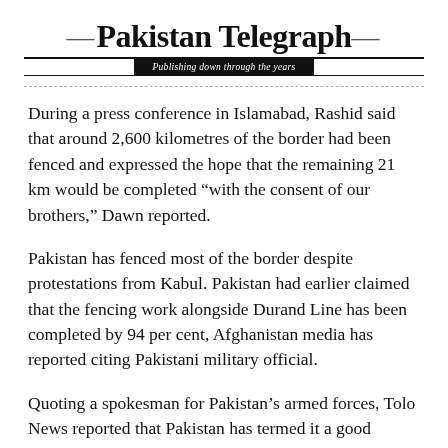Pakistan Telegraph — Publishing down through the years
During a press conference in Islamabad, Rashid said that around 2,600 kilometres of the border had been fenced and expressed the hope that the remaining 21 km would be completed "with the consent of our brothers," Dawn reported.
Pakistan has fenced most of the border despite protestations from Kabul. Pakistan had earlier claimed that the fencing work alongside Durand Line has been completed by 94 per cent, Afghanistan media has reported citing Pakistani military official.
Quoting a spokesman for Pakistan's armed forces, Tolo News reported that Pakistan has termed it a good decision for the security of the people on both